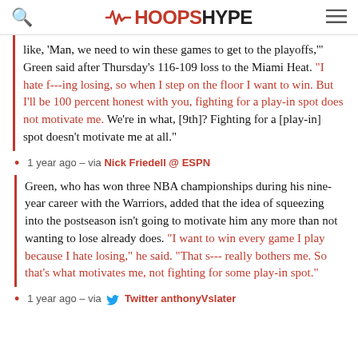HOOPSHYPE
like, 'Man, we need to win these games to get to the playoffs,'' Green said after Thursday's 116-109 loss to the Miami Heat. "I hate f---ing losing, so when I step on the floor I want to win. But I'll be 100 percent honest with you, fighting for a play-in spot does not motivate me. We're in what, [9th]? Fighting for a [play-in] spot doesn't motivate me at all."
1 year ago – via Nick Friedell @ ESPN
Green, who has won three NBA championships during his nine-year career with the Warriors, added that the idea of squeezing into the postseason isn't going to motivate him any more than not wanting to lose already does. "I want to win every game I play because I hate losing," he said. "That s--- really bothers me. So that's what motivates me, not fighting for some play-in spot."
1 year ago – via Twitter anthonyVslater